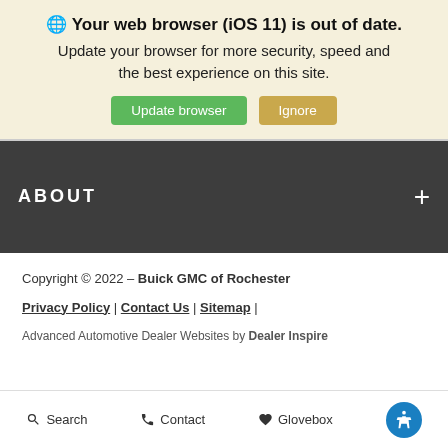🌐 Your web browser (iOS 11) is out of date. Update your browser for more security, speed and the best experience on this site.
Update browser | Ignore
ABOUT +
Copyright © 2022 - Buick GMC of Rochester
Privacy Policy | Contact Us | Sitemap |
Advanced Automotive Dealer Websites by Dealer Inspire
Search | Contact | Glovebox | [accessibility icon]